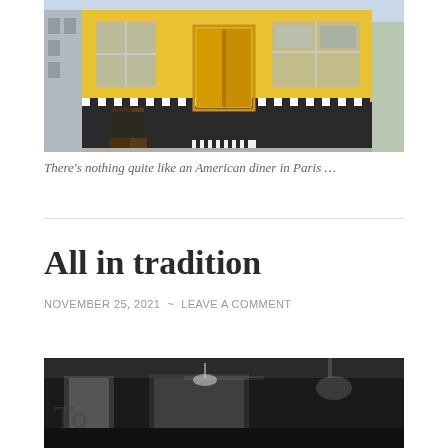[Figure (photo): Exterior of a yellow American diner building in Paris, with black-and-white checkered border detail, yellow double doors in the center, a chalkboard A-frame sign on the left, and large windows.]
There’s nothing quite like an American diner in Paris …
All in tradition
NOVEMBER 25, 2021 ~ LEAVE A COMMENT
[Figure (photo): Black and white photograph of an interior scene with hanging banners or signs and vintage lighting.]